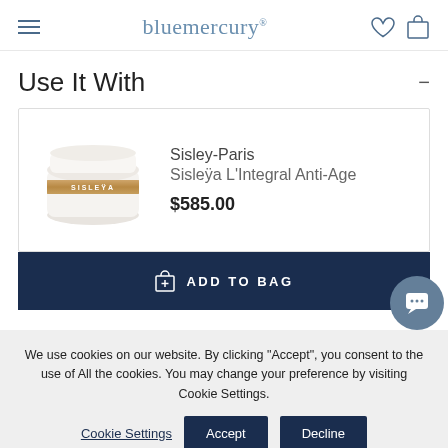bluemercury
Use It With
[Figure (photo): White jar of Sisley-Paris Sisleya L'Integral Anti-Age cream with a gold label band]
Sisley-Paris
Sisleya L'Integral Anti-Age
$585.00
ADD TO BAG
We use cookies on our website. By clicking "Accept", you consent to the use of All the cookies. You may change your preference by visiting Cookie Settings.
Cookie Settings  Accept  Decline